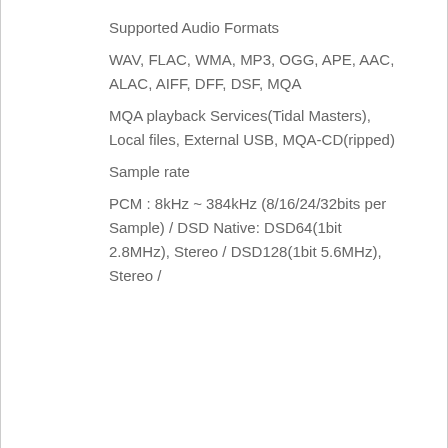Supported Audio Formats
WAV, FLAC, WMA, MP3, OGG, APE, AAC, ALAC, AIFF, DFF, DSF, MQA
MQA playback Services(Tidal Masters), Local files, External USB, MQA-CD(ripped)
Sample rate
PCM : 8kHz ~ 384kHz (8/16/24/32bits per Sample) / DSD Native: DSD64(1bit 2.8MHz), Stereo / DSD128(1bit 5.6MHz), Stereo /